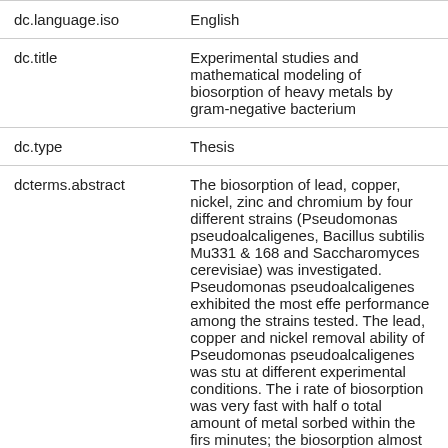| Field | Value |
| --- | --- |
| dc.language.iso | English |
| dc.title | Experimental studies and mathematical modeling of biosorption of heavy metals by gram-negative bacterium |
| dc.type | Thesis |
| dcterms.abstract | The biosorption of lead, copper, nickel, zinc and chromium by four different strains (Pseudomonas pseudoalcaligenes, Bacillus subtilis Mu331 & 168 and Saccharomyces cerevisiae) was investigated. Pseudomonas pseudoalcaligenes exhibited the most effective performance among the strains tested. The lead, copper and nickel removal ability of Pseudomonas pseudoalcaligenes was studied at different experimental conditions. The initial rate of biosorption was very fast with half of total amount of metal sorbed within the first minutes; the biosorption almost reached equilibrium after 200 minutes. The biosorption kinetics was well described by the pseudo-second-order biosorption rate equation. Th |